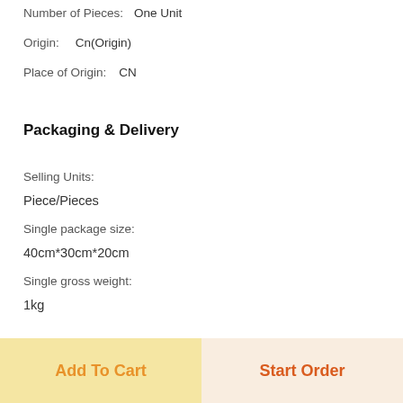Number of Pieces:    One Unit
Origin:    Cn(Origin)
Place of Origin:    CN
Packaging & Delivery
Selling Units:
Piece/Pieces
Single package size:
40cm*30cm*20cm
Single gross weight:
1kg
Add To Cart
Start Order